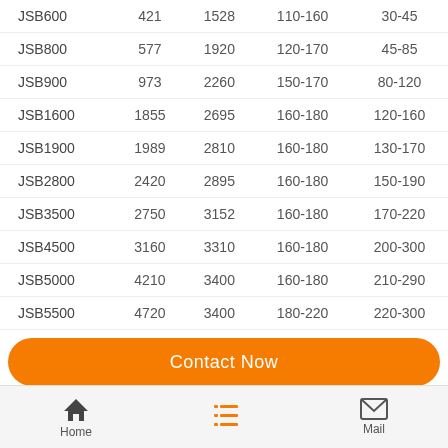| JSB600 | 421 | 1528 | 110-160 | 30-45 |
| JSB800 | 577 | 1920 | 120-170 | 45-85 |
| JSB900 | 973 | 2260 | 150-170 | 80-120 |
| JSB1600 | 1855 | 2695 | 160-180 | 120-160 |
| JSB1900 | 1989 | 2810 | 160-180 | 130-170 |
| JSB2800 | 2420 | 2895 | 160-180 | 150-190 |
| JSB3500 | 2750 | 3152 | 160-180 | 170-220 |
| JSB4500 | 3160 | 3310 | 160-180 | 200-300 |
| JSB5000 | 4210 | 3400 | 160-180 | 210-290 |
| JSB5500 | 4720 | 3400 | 180-220 | 220-300 |
| JSB6000 | 4910 | 3420 | 180-220 | 230-320 |
Contact Now
Home  Mail